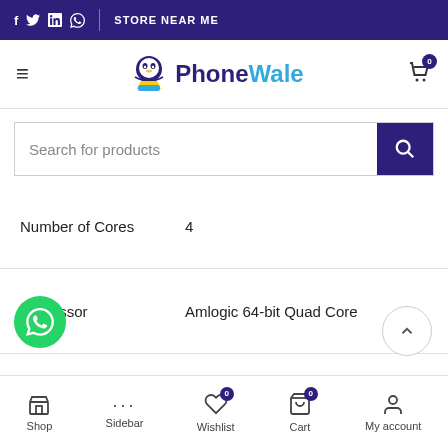f  Twitter  in  WhatsApp  |  STORE NEAR ME
[Figure (logo): PhoneWale logo with mascot character]
Search for products
| Attribute | Value |
| --- | --- |
| Number of Cores | 4 |
| Processor | Amlogic 64-bit Quad Core |
| Graphic Processor | Mali 450 MP |
| Capacity | 2 GB |
Shop  Sidebar  Wishlist 0  Cart 0  My account